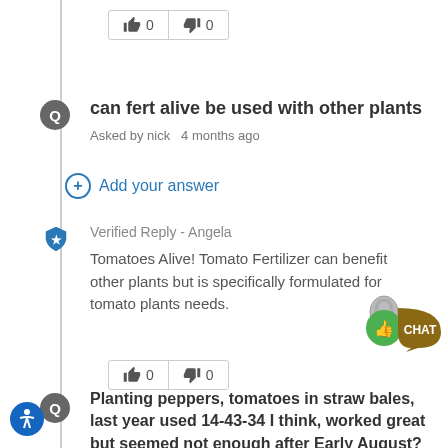[Figure (other): Thumbs up (0) and thumbs down (0) vote buttons at the top]
can fert alive be used with other plants
Asked by nick  4 months ago
Add your answer
Verified Reply - Angela
Tomatoes Alive! Tomato Fertilizer can benefit other plants but is specifically formulated for tomato plants needs.
[Figure (other): Thumbs up (0) and thumbs down (0) vote buttons]
[Figure (other): Chat widget with thumbs up icon and speech bubble saying CHAT]
Planting peppers, tomatoes in straw bales, last year used 14-43-34 I think, worked great but seemed not enough after Early August? Any recomendations